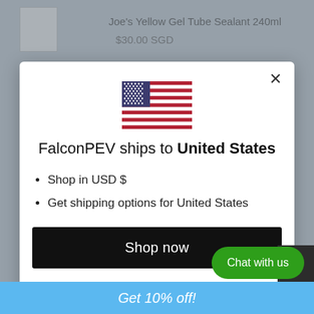Joe's Yellow Gel Tube Sealant 240ml
$30.00 SGD
[Figure (screenshot): Modal dialog on an e-commerce website showing a US flag, shipping information for United States, a Shop now button, and a Change shipping country link]
FalconPEV ships to United States
Shop in USD $
Get shipping options for United States
Shop now
Change shipping country
Chat with us
Get 10% off!